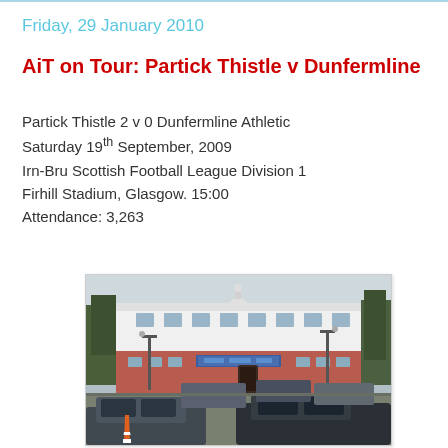Friday, 29 January 2010
AiT on Tour: Partick Thistle v Dunfermline
Partick Thistle 2 v 0 Dunfermline Athletic
Saturday 19th September, 2009
Irn-Bru Scottish Football League Division 1
Firhill Stadium, Glasgow. 15:00
Attendance: 3,263
[Figure (photo): Exterior view of Firhill Stadium, Glasgow. A white and red brick building with cars parked in the foreground and trees to the left and right. A traffic cone is visible in the lower left.]